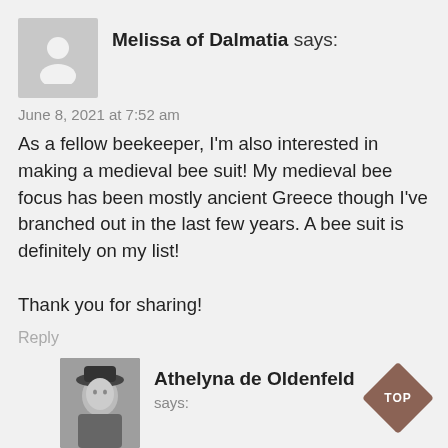[Figure (illustration): Gray placeholder avatar icon for user Melissa of Dalmatia]
Melissa of Dalmatia says:
June 8, 2021 at 7:52 am
As a fellow beekeeper, I'm also interested in making a medieval bee suit! My medieval bee focus has been mostly ancient Greece though I've branched out in the last few years. A bee suit is definitely on my list!

Thank you for sharing!
Reply
[Figure (photo): Profile photo of Athelyna de Oldenfeld, a person wearing a dark hat]
Athelyna de Oldenfeld
says:
[Figure (other): Diamond-shaped brown TOP button in bottom right corner]